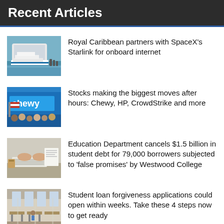Recent Articles
Royal Caribbean partners with SpaceX's Starlink for onboard internet
Stocks making the biggest moves after hours: Chewy, HP, CrowdStrike and more
Education Department cancels $1.5 billion in student debt for 79,000 borrowers subjected to 'false promises' by Westwood College
Student loan forgiveness applications could open within weeks. Take these 4 steps now to get ready